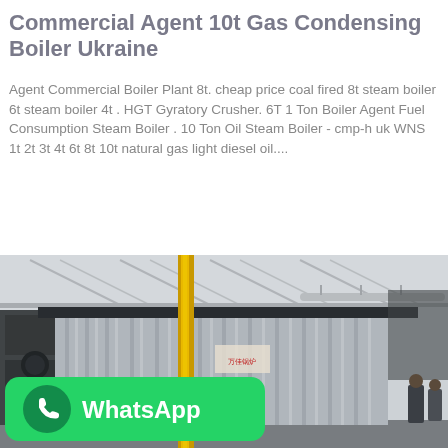Commercial Agent 10t Gas Condensing Boiler Ukraine
Agent Commercial Boiler Plant 8t. cheap price coal fired 8t steam boiler 6t steam boiler 4t . HGT Gyratory Crusher. 6T 1 Ton Boiler Agent Fuel Consumption Steam Boiler . 10 Ton Oil Steam Boiler - cmp-h uk WNS 1t 2t 3t 4t 6t 8t 10t natural gas light diesel oil....
Get Price
[Figure (photo): Industrial photo of a large gas condensing boiler with corrugated silver cladding inside a factory hall. A yellow vertical pipe runs through the center. A WhatsApp banner overlay is visible in the lower left corner. Two people are visible on the right side.]